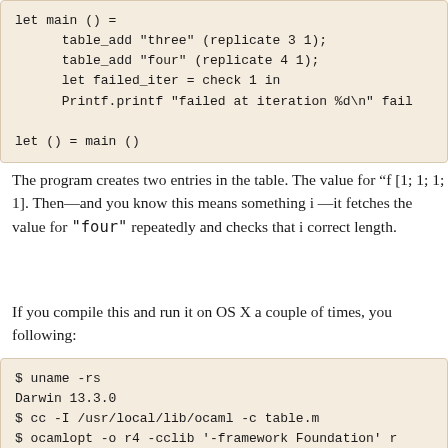[Figure (other): Code block showing OCaml code: let main () = table_add three (replicate 3 1); table_add four (replicate 4 1); let failed_iter = check 1 in Printf.printf failed at iteration %d\n fail... let () = main ()]
The program creates two entries in the table. The value for "f [1; 1; 1; 1]. Then—and you know this means something i —it fetches the value for "four" repeatedly and checks that i correct length.
If you compile this and run it on OS X a couple of times, you following:
[Figure (screenshot): Terminal output showing: $ uname -rs, Darwin 13.3.0, $ cc -I /usr/local/lib/ocaml -c table.m, $ ocamlopt -o r4 -cclib '-framework Foundation' r table.o, $ r4, failed at iteration 131067, $ r4, failed at iteration 131067]